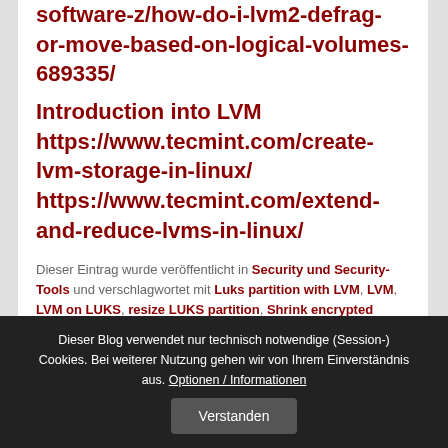software-z/how-do-i-lvm2-defrag-or-move-based-on-logical-volumes-689335/ Introduction into LVM https://www.tecmint.com/create-lvm-storage-in-linux/ https://www.tecmint.com/extend-and-reduce-lvms-in-linux/
Dieser Eintrag wurde veröffentlicht in Security und Security-Tools und verschlagwortet mit Luks partition with LVM, LVM, LVM on LUKS, resize LUKS partition, Shrink encrypted partition von eremo. Permanenter Link zum Eintrag.
Dieser Blog verwendet nur technisch notwendige (Session-) Cookies. Bei weiterer Nutzung gehen wir von Ihrem Einverständnis aus. Optionen / Informationen